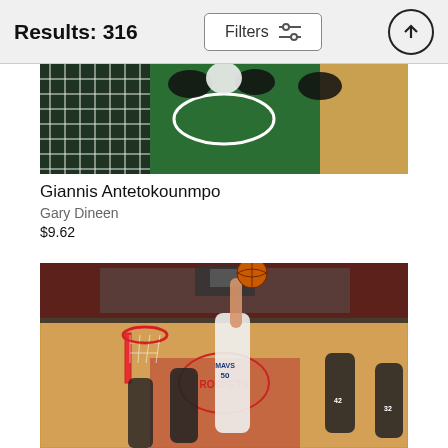Results: 316
[Figure (photo): Overhead view of a basketball court near the hoop, showing players from above on a green-painted court (Giannis Antetokounmpo photo)]
Giannis Antetokounmpo
Gary Dineen
$9.62
[Figure (photo): Basketball game action photo: a player in a Mavericks white jersey (#50) reaches up to dunk against Houston Rockets players, with a packed arena crowd in the background and the Rockets court logo visible]